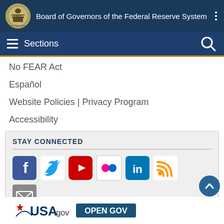Board of Governors of the Federal Reserve System
No FEAR Act
Español
Website Policies | Privacy Program
Accessibility
STAY CONNECTED
[Figure (infographic): Social media icons: Facebook, Twitter, YouTube, Flickr, LinkedIn, RSS feed, and Email]
[Figure (logo): USA.gov and OPEN GOV logos at the bottom of the page]